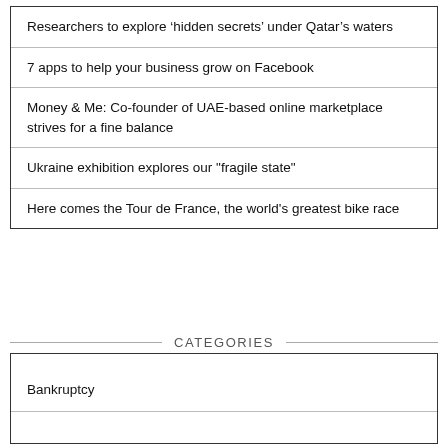Researchers to explore 'hidden secrets' under Qatar's waters
7 apps to help your business grow on Facebook
Money & Me: Co-founder of UAE-based online marketplace strives for a fine balance
Ukraine exhibition explores our "fragile state"
Here comes the Tour de France, the world's greatest bike race
CATEGORIES
Bankruptcy